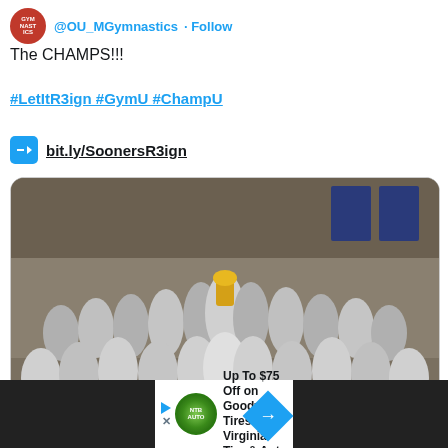[Figure (screenshot): Twitter/social media post screenshot showing a gymnastics team tweet]
The CHAMPS!!!
#LetItR3ign #GymU #ChampU
bit.ly/SoonersR3ign
[Figure (photo): Group photo of the 2017 NCAA Men's Gymnastics National Champions team holding a blue banner reading '2017 NCAA MEN'S GYMNASTICS NATIONAL CHAMPION']
2:09 AM · Apr 23, 2017
Up To $75 Off on Goodyear Tires at Virginia Tire & Auto